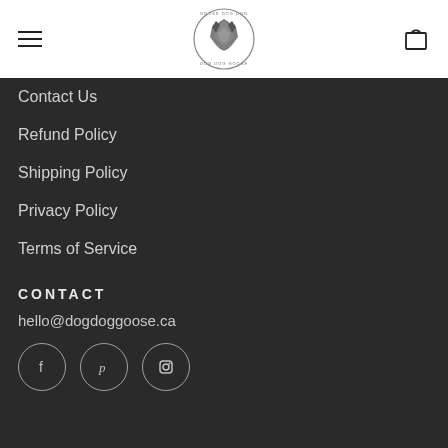Dog Dog Goose - navigation header with hamburger menu, logo, and shopping bag
Contact Us
Refund Policy
Shipping Policy
Privacy Policy
Terms of Service
CONTACT
hello@dogdoggoose.ca
[Figure (illustration): Social media icons: Facebook, Pinterest, Instagram in circular outlines]